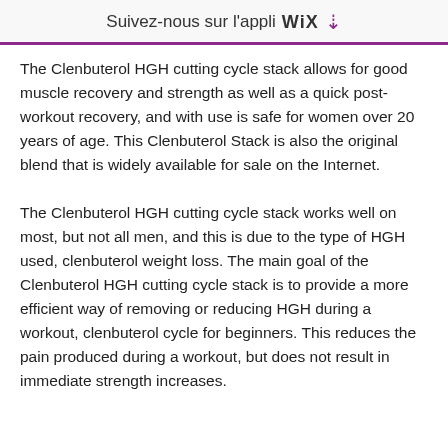Suivez-nous sur l'appli WIX ↓
The Clenbuterol HGH cutting cycle stack allows for good muscle recovery and strength as well as a quick post-workout recovery, and with use is safe for women over 20 years of age. This Clenbuterol Stack is also the original blend that is widely available for sale on the Internet.
The Clenbuterol HGH cutting cycle stack works well on most, but not all men, and this is due to the type of HGH used, clenbuterol weight loss. The main goal of the Clenbuterol HGH cutting cycle stack is to provide a more efficient way of removing or reducing HGH during a workout, clenbuterol cycle for beginners. This reduces the pain produced during a workout, but does not result in immediate strength increases.